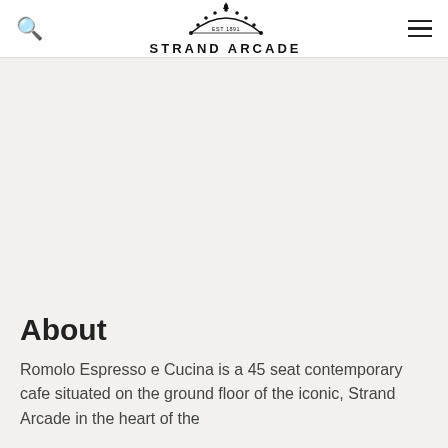Strand Arcade
[Figure (logo): Strand Arcade logo with ornate arch illustration and text EST 1891 STRAND ARCADE]
About
Romolo Espresso e Cucina is a 45 seat contemporary cafe situated on the ground floor of the iconic, Strand Arcade in the heart of the